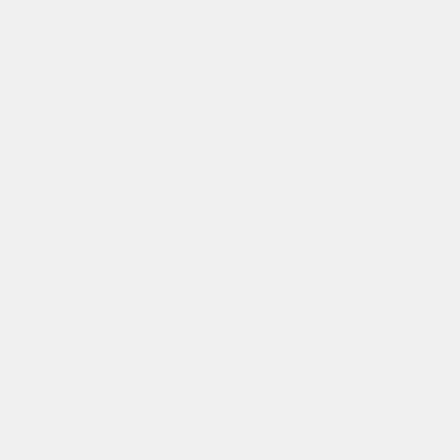Determinism, Consciousness and Free W... pm at Emoryâs Harland Cinema at the... Center.
The guest speaker, and first to be recogniz... Michael Gazzaniga, PhD, a scientist and a... of the pioneers in the emerging field of cog...
“Dr. Gazzaniga is a world renowned sc... addition to his other accomplishments, pio... split-brained patients and so revealed how... hemispheres of our brains function,”â¦ PhD, director of the Emory University C...
“He has won our First Annual Emo... Ethics Award because, throughout his care... the human condition, including serving on... such as his book The Ethical Brain.Â  I ca...
Gazzaniga founded and presides over the... of the Journal of Cognitive Neuroscience,... founders of the Cognitive Neuroscience...